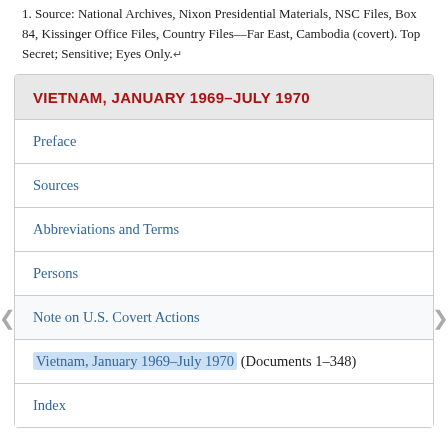1. Source: National Archives, Nixon Presidential Materials, NSC Files, Box 84, Kissinger Office Files, Country Files—Far East, Cambodia (covert). Top Secret; Sensitive; Eyes Only.↵
VIETNAM, JANUARY 1969–JULY 1970
Preface
Sources
Abbreviations and Terms
Persons
Note on U.S. Covert Actions
Vietnam, January 1969–July 1970 (Documents 1–348)
Index